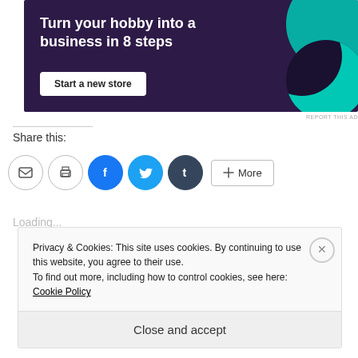[Figure (infographic): Advertisement banner: dark purple background with teal circle graphic, text 'Turn your hobby into a business in 8 steps', white button 'Start a new store']
REPORT THIS AD
Share this:
[Figure (infographic): Social sharing buttons row: email (envelope), print (printer), Facebook (f), Twitter (bird), Tumblr (t), and More button]
Loading...
Privacy & Cookies: This site uses cookies. By continuing to use this website, you agree to their use.
To find out more, including how to control cookies, see here: Cookie Policy
Close and accept